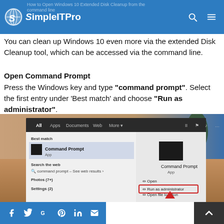SimpleITPro — How to Open Windows 10 Extended Disk Cleanup from the command line
You can clean up Windows 10 even more via the extended Disk Cleanup tool, which can be accessed via the command line.
Open Command Prompt
Press the Windows key and type "command prompt". Select the first entry under 'Best match' and choose "Run as administrator".
[Figure (screenshot): Windows 10 Start Menu search showing 'command prompt' search results with Command Prompt App highlighted under 'Best match', and the right panel showing options including Open, Run as administrator (highlighted with red box), Open file location, Pin to Start, Pin to taskbar. Background shows desert landscape.]
Social share bar with Facebook, Twitter, Google, Pinterest, LinkedIn, Email icons